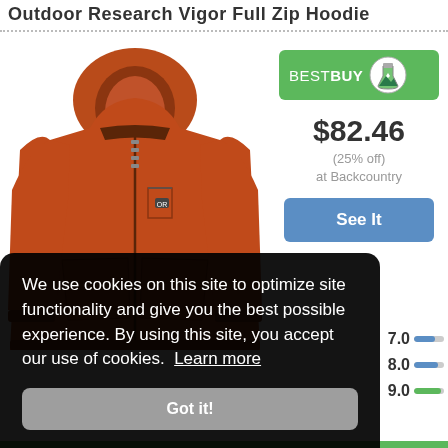Outdoor Research Vigor Full Zip Hoodie
[Figure (photo): Orange/rust colored hooded full zip fleece jacket with OR logo on chest]
[Figure (logo): BEST BUY badge with green background and flask/mountain icon]
$82.46
(25% off)
at Backcountry
See It
7.0
8.0
9.0
We use cookies on this site to optimize site functionality and give you the best possible experience. By using this site, you accept our use of cookies. Learn more
Got it!